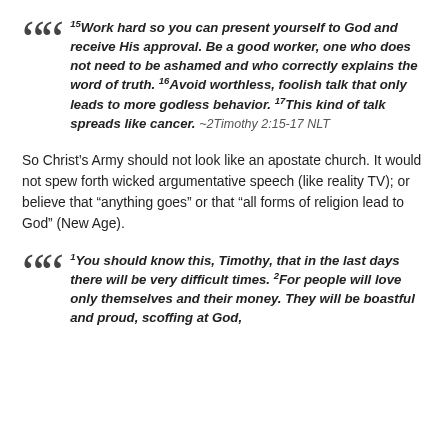15Work hard so you can present yourself to God and receive His approval. Be a good worker, one who does not need to be ashamed and who correctly explains the word of truth. 16Avoid worthless, foolish talk that only leads to more godless behavior. 17This kind of talk spreads like cancer. ~2Timothy 2:15-17 NLT
So Christ's Army should not look like an apostate church. It would not spew forth wicked argumentative speech (like reality TV); or believe that "anything goes" or that "all forms of religion lead to God" (New Age).
1You should know this, Timothy, that in the last days there will be very difficult times. 2For people will love only themselves and their money. They will be boastful and proud, scoffing at God,